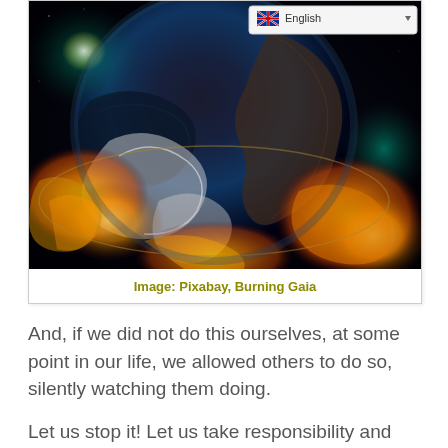[Figure (illustration): Dramatic artistic image of Earth from space with golden-orange fiery fractal clouds surrounding it against a dark cosmic background, resembling a burning or exploding planet. A language selector showing 'English' with UK flag is overlaid in the top-right corner.]
Image: Pixabay, Burning Gaia
And, if we did not do this ourselves, at some point in our life, we allowed others to do so, silently watching them doing.
Let us stop it! Let us take responsibility and